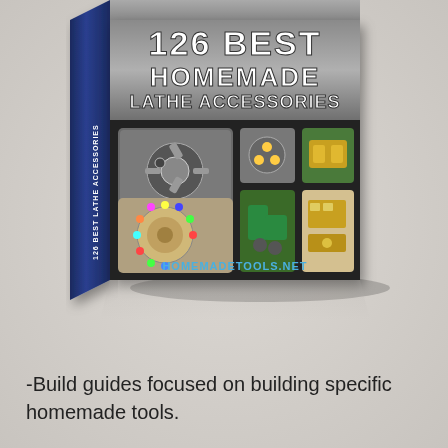[Figure (illustration): 3D book cover for '126 Best Homemade Lathe Accessories' from homemadetools.net, showing a dark metallic cover with photos of lathe accessories including gear wheels, brass fittings, indexing plates, and tool holders. The book spine is visible on the left side with the title text rotated vertically. Below the book is a reflection effect on a light gray background.]
-Build guides focused on building specific homemade tools.